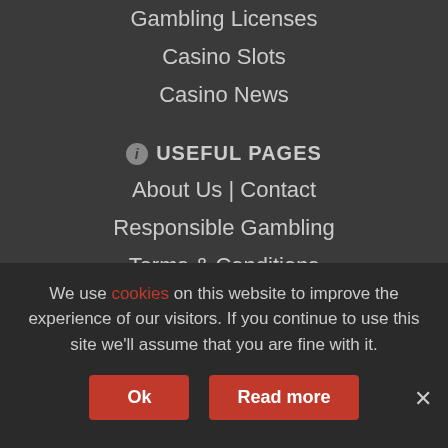Gambling Licenses
Casino Slots
Casino News
ℹ USEFUL PAGES
About Us | Contact
Responsible Gambling
Terms & Conditions
Cookies | Sitemap
✅ AN INDEPENDENT CASINO GUIDE
New-OnlineCasinos.co.uk is an independent website, listing the latest online casinos available. We work hard
We use cookies on this website to improve the experience of our visitors. If you continue to use this site we'll assume that you are fine with it.